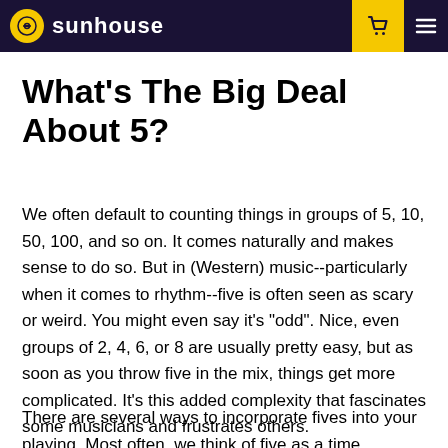sunhouse
What's The Big Deal About 5?
We often default to counting things in groups of 5, 10, 50, 100, and so on. It comes naturally and makes sense to do so. But in (Western) music--particularly when it comes to rhythm--five is often seen as scary or weird. You might even say it's "odd". Nice, even groups of 2, 4, 6, or 8 are usually pretty easy, but as soon as you throw five in the mix, things get more complicated. It's this added complexity that fascinates some musicians and frustrates others.
There are several ways to incorporate fives into your playing. Most often, we think of five as a time signature,